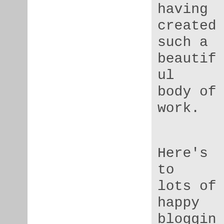having created such a beautiful body of work.
Here's to lots of happy blogging. It's great to be in touch and enjoy the award. Three hearty cheers for your nomination too. It is